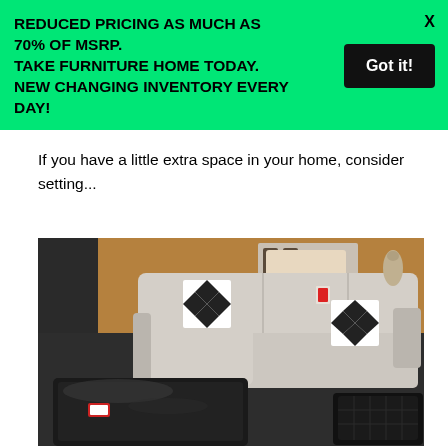REDUCED PRICING AS MUCH AS 70% OF MSRP. TAKE FURNITURE HOME TODAY. NEW CHANGING INVENTORY EVERY DAY!
Got it!
If you have a little extra space in your home, consider setting...
[Figure (photo): A furniture showroom displaying a light gray sectional sofa with black and white diamond-pattern throw pillows, a large dark leather ottoman in the foreground, and additional furniture pieces visible in the background.]